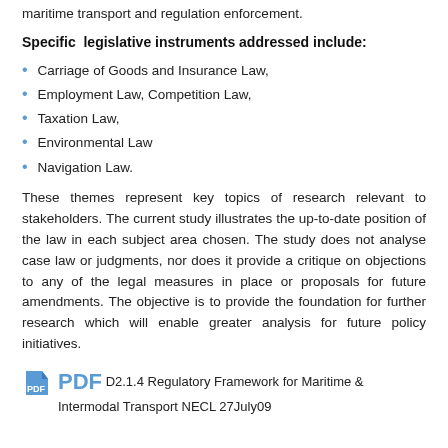maritime transport and regulation enforcement.
Specific legislative instruments addressed include:
Carriage of Goods and Insurance Law,
Employment Law, Competition Law,
Taxation Law,
Environmental Law
Navigation Law.
These themes represent key topics of research relevant to stakeholders. The current study illustrates the up-to-date position of the law in each subject area chosen. The study does not analyse case law or judgments, nor does it provide a critique on objections to any of the legal measures in place or proposals for future amendments. The objective is to provide the foundation for further research which will enable greater analysis for future policy initiatives.
PDF  D2.1.4 Regulatory Framework for Maritime & Intermodal Transport NECL 27July09